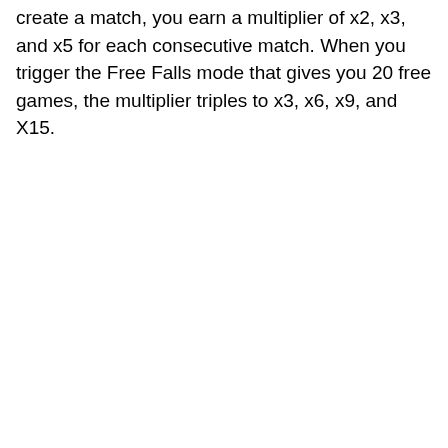create a match, you earn a multiplier of x2, x3, and x5 for each consecutive match. When you trigger the Free Falls mode that gives you 20 free games, the multiplier triples to x3, x6, x9, and X15.